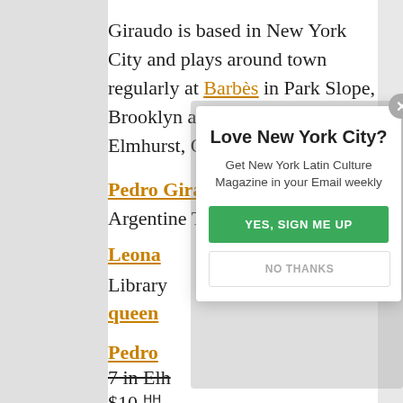Giraudo is based in New York City and plays around town regularly at Barbès in Park Slope, Brooklyn and Terraza 7 in Elmhurst, Queens.
Pedro Giraudo streams Argentine Tango with a dance
Leona
Library
queens
Pedro
7 in Elh
$10.
Pedro
[Figure (screenshot): Modal popup overlay with title 'Love New York City?', subtitle 'Get New York Latin Culture Magazine in your Email weekly', a green 'YES, SIGN ME UP' button, and a 'NO THANKS' button. There is a close (X) button in the top right corner of the modal.]